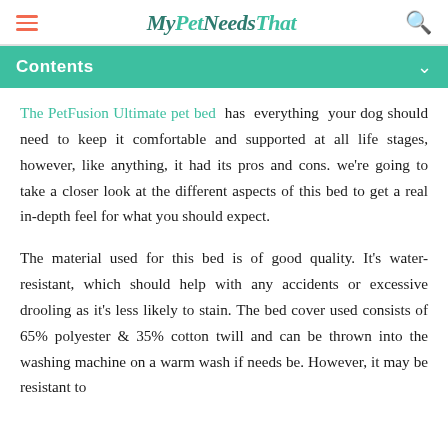MyPetNeedsThat
Contents
The PetFusion Ultimate pet bed has everything your dog should need to keep it comfortable and supported at all life stages, however, like anything, it had its pros and cons. we're going to take a closer look at the different aspects of this bed to get a real in-depth feel for what you should expect.
The material used for this bed is of good quality. It's water-resistant, which should help with any accidents or excessive drooling as it's less likely to stain. The bed cover used consists of 65% polyester & 35% cotton twill and can be thrown into the washing machine on a warm wash if needs be. However, it may be resistant to